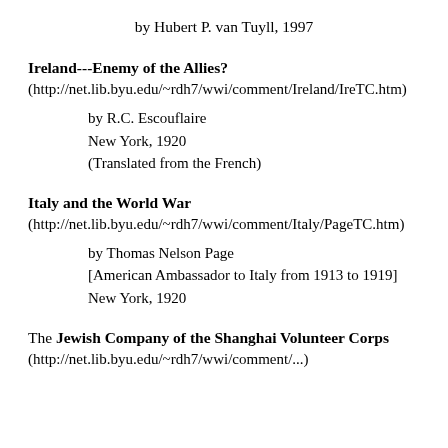by Hubert P. van Tuyll, 1997
Ireland---Enemy of the Allies?
(http://net.lib.byu.edu/~rdh7/wwi/comment/Ireland/IreTC.htm)
by R.C. Escouflaire
New York, 1920
(Translated from the French)
Italy and the World War
(http://net.lib.byu.edu/~rdh7/wwi/comment/Italy/PageTC.htm)
by Thomas Nelson Page
[American Ambassador to Italy from 1913 to 1919]
New York, 1920
The Jewish Company of the Shanghai Volunteer Corps
(http://net.lib.byu.edu/~rdh7/wwi/comment/...)